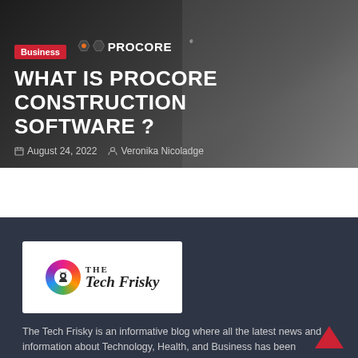[Figure (photo): Hero banner with dark background showing a person using a tablet, overlaid with Procore logo and article title]
Business
WHAT IS PROCORE CONSTRUCTION SOFTWARE ?
August 24, 2022   Veronika Nicoladge
[Figure (logo): The Tech Frisky logo — circular rainbow icon with white silhouette face inside, next to 'The Tech Frisky' text in serif italic font, on white background]
The Tech Frisky is an informative blog where all the latest news and information about Technology, Health, and Business has been provided.  Techfriskytech@gmail.com